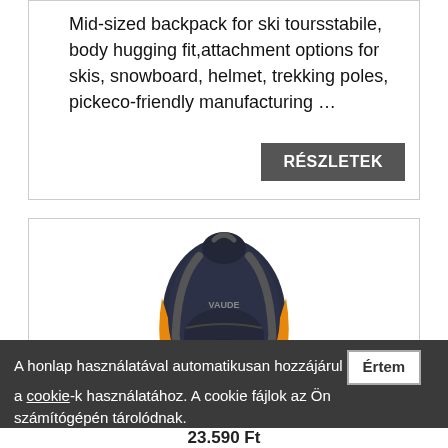Mid-sized backpack for ski toursstabile, body hugging fit,attachment options for skis, snowboard, helmet, trekking poles, pickeco-friendly manufacturing …
RÉSZLETEK
[Figure (photo): Dark navy and orange backpack product photo on white background]
A honlap használatával automatikusan hozzájárul Értem a cookie-k használatához. A cookie fájlok az Ön számítógépén tárolódnak.
23.590 Ft